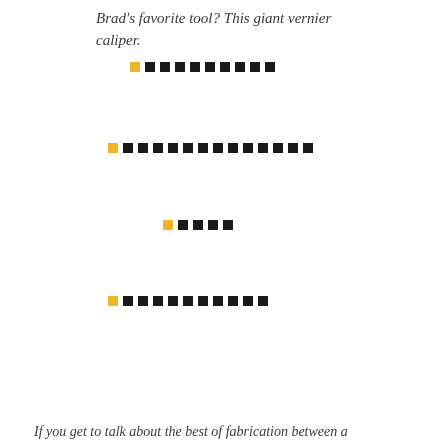Brad's favorite tool? This giant vernier caliper.
[Figure (other): Row of small squares: one yellow square followed by nine black squares, forming a dotted/dashed rule line]
[Figure (other): Row of small squares: one yellow square followed by thirteen black squares, forming a dotted/dashed rule line]
[Figure (other): Row of small squares: one yellow square followed by four black squares, forming a dotted/dashed rule line]
[Figure (other): Row of small squares: one yellow square followed by ten black squares, forming a dotted/dashed rule line]
If you get to talk about the best of fabrication between a